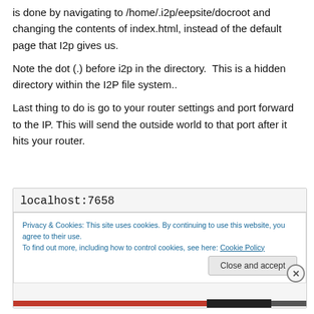is done by navigating to /home/.i2p/eepsite/docroot and changing the contents of index.html, instead of the default page that I2p gives us.
Note the dot (.) before i2p in the directory.  This is a hidden directory within the I2P file system..
Last thing to do is go to your router settings and port forward to the IP. This will send the outside world to that port after it hits your router.
[Figure (screenshot): Browser screenshot showing address bar with 'localhost:7658' and a cookie consent notice with text about privacy and cookies, a 'Cookie Policy' link, and a 'Close and accept' button.]